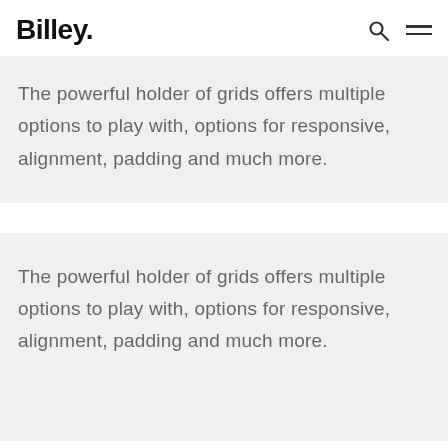Billey.
The powerful holder of grids offers multiple options to play with, options for responsive, alignment, padding and much more.
The powerful holder of grids offers multiple options to play with, options for responsive, alignment, padding and much more.